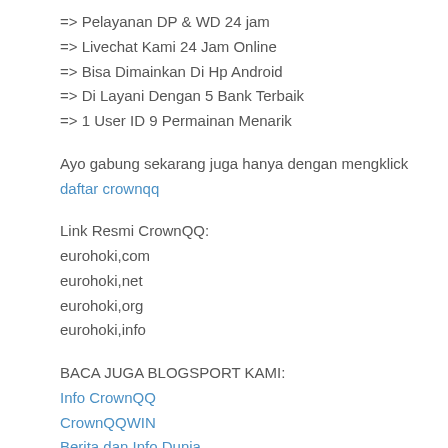=> Pelayanan DP & WD 24 jam
=> Livechat Kami 24 Jam Online
=> Bisa Dimainkan Di Hp Android
=> Di Layani Dengan 5 Bank Terbaik
=> 1 User ID 9 Permainan Menarik
Ayo gabung sekarang juga hanya dengan mengklick daftar crownqq
Link Resmi CrownQQ:
eurohoki,com
eurohoki,net
eurohoki,org
eurohoki,info
BACA JUGA BLOGSPORT KAMI:
Info CrownQQ
CrownQQWIN
Berita dan Info Dunia
Entertainmensartis
Info Lebih lanjut Kunjungi :